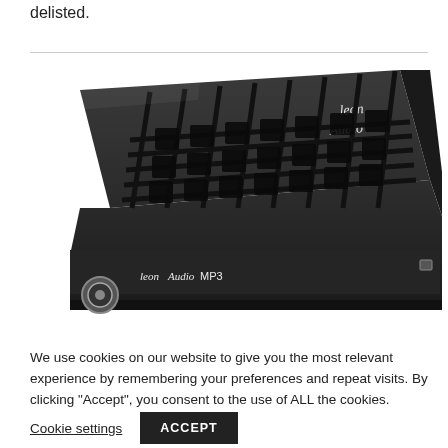delisted.
[Figure (photo): A black Leon Audio MP3 module/amplifier unit shown at an angle, with a metal grid/cage on top and the Leon Audio logo on the top surface. The front panel shows 'leon Audio MP3' text and a circular connector port.]
We use cookies on our website to give you the most relevant experience by remembering your preferences and repeat visits. By clicking "Accept", you consent to the use of ALL the cookies.
Cookie settings
ACCEPT